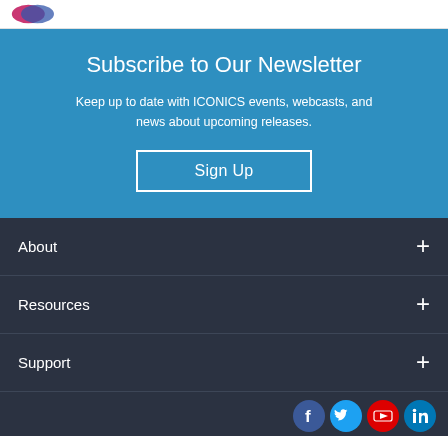[Figure (logo): ICONICS logo partial, top-left corner]
Subscribe to Our Newsletter
Keep up to date with ICONICS events, webcasts, and news about upcoming releases.
Sign Up
About +
Resources +
Support +
[Figure (illustration): Social media icons: Facebook, Twitter, YouTube, LinkedIn]